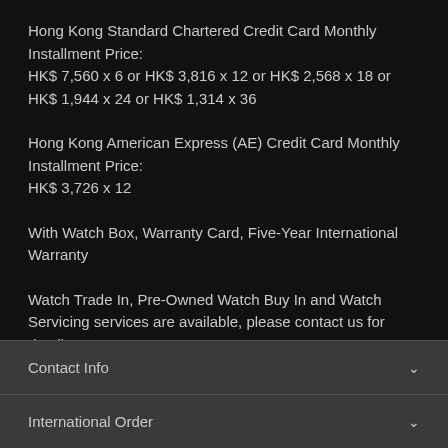Hong Kong Standard Chartered Credit Card Monthly Installment Price:
HK$ 7,560 x 6 or HK$ 3,816 x 12 or HK$ 2,568 x 18 or HK$ 1,944 x 24 or HK$ 1,314 x 36
Hong Kong American Express (AE) Credit Card Monthly Installment Price:
HK$ 3,726 x 12
With Watch Box, Warranty Card, Five-Year International Warranty
Watch Trade In, Pre-Owned Watch Buy In and Watch Servicing services are available, please contact us for details
Contact Info
International Order